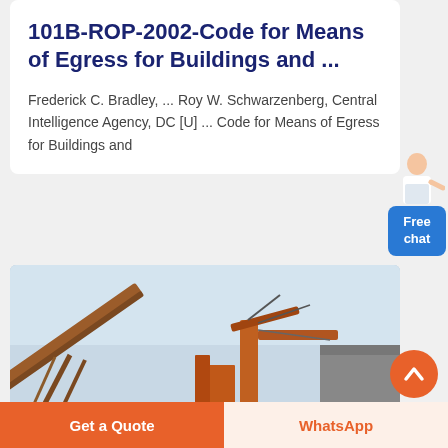101B-ROP-2002-Code for Means of Egress for Buildings and ...
Frederick C. Bradley, ... Roy W. Schwarzenberg, Central Intelligence Agency, DC [U] ... Code for Means of Egress for Buildings and
[Figure (photo): Industrial machinery/crane structure photographed from below against a light sky, showing orange/rust-colored metal framework and equipment.]
Get a Quote
WhatsApp